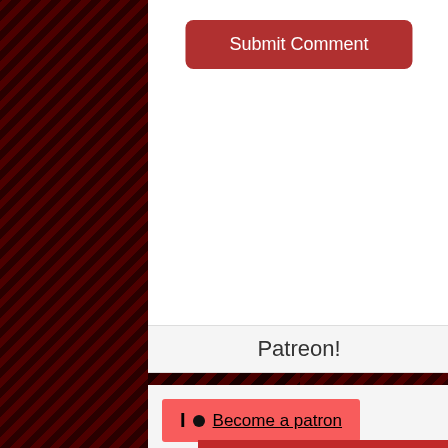[Figure (screenshot): Red/dark diagonal striped background on left and right sides of page]
Submit Comment
Patreon!
Become a patron
[Figure (infographic): Red advertisement banner reading: FOOTBALL T-SHIRTS! Original and unique designs for footy]